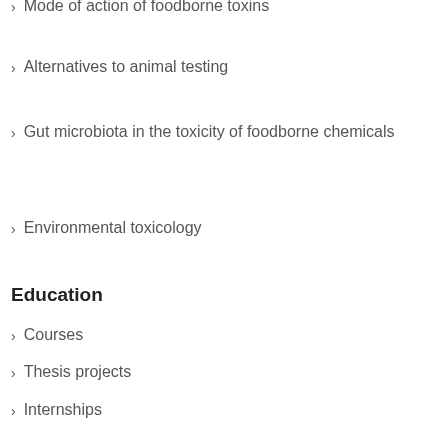Mode of action of foodborne toxins
Alternatives to animal testing
Gut microbiota in the toxicity of foodborne chemicals
Environmental toxicology
Education
Courses
Thesis projects
Internships
About Toxicology
Homepage
People